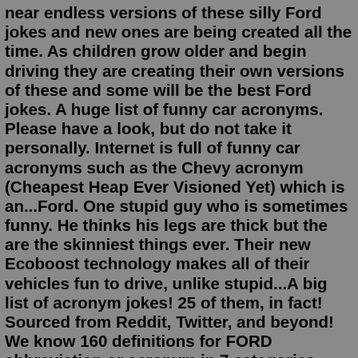near endless versions of these silly Ford jokes and new ones are being created all the time. As children grow older and begin driving they are creating their own versions of these and some will be the best Ford jokes. A huge list of funny car acronyms. Please have a look, but do not take it personally. Internet is full of funny car acronyms such as the Chevy acronym (Cheapest Heap Ever Visioned Yet) which is an...Ford. One stupid guy who is sometimes funny. He thinks his legs are thick but the are the skinniest things ever. Their new Ecoboost technology makes all of their vehicles fun to drive, unlike stupid...A big list of acronym jokes! 25 of them, in fact! Sourced from Reddit, Twitter, and beyond! We know 160 definitions for FORD abbreviation or acronym in 7 categories. Possible FORD meaning as an acronym, abbreviation, shorthand or slang term vary from category to category. Please look for them carefully. FORD Stands For: All acronyms (160) Airports & Locations Business & Finance (3) Common (46) Government & Military (4) Medicine... This is a glossary of terms in